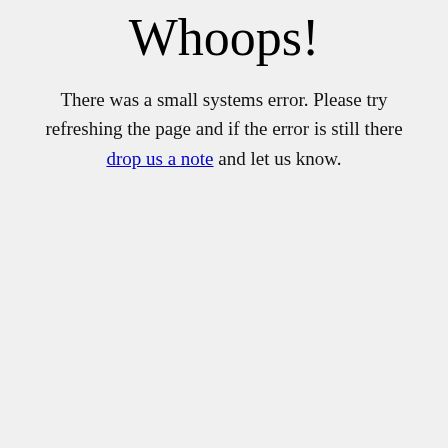Whoops!
There was a small systems error. Please try refreshing the page and if the error is still there drop us a note and let us know.